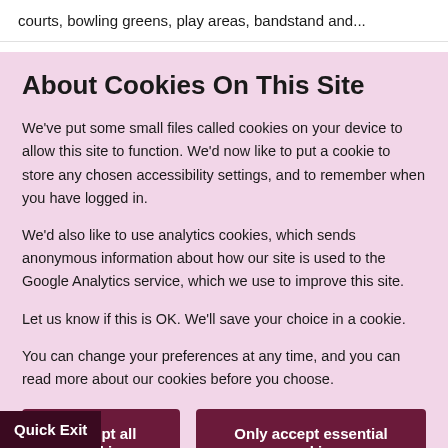courts, bowling greens, play areas, bandstand and...
About Cookies On This Site
We've put some small files called cookies on your device to allow this site to function. We'd now like to put a cookie to store any chosen accessibility settings, and to remember when you have logged in.
We'd also like to use analytics cookies, which sends anonymous information about how our site is used to the Google Analytics service, which we use to improve this site.
Let us know if this is OK. We'll save your choice in a cookie.
You can change your preferences at any time, and you can read more about our cookies before you choose.